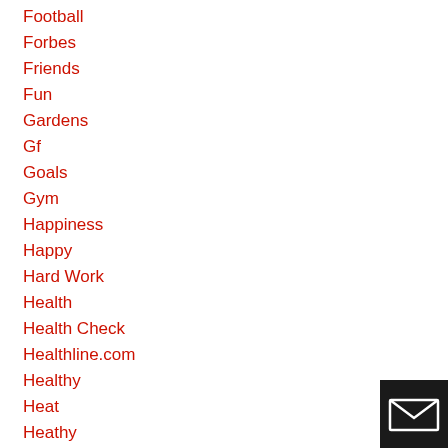Foodle
Football
Forbes
Friends
Fun
Gardens
Gf
Goals
Gym
Happiness
Happy
Hard Work
Health
Health Check
Healthline.com
Healthy
Heat
Heathy
[Figure (illustration): Email/envelope icon in white on black square background, bottom right corner]